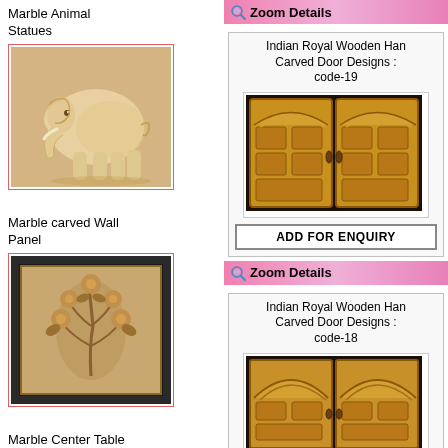Marble Animal Statues
[Figure (photo): Marble elephant statue carved in beige/cream stone]
Marble carved Wall Panel
[Figure (photo): Marble wall panel with carved floral pattern, dark framed]
Marble Center Table
[Figure (photo): White marble center/pedestal table with ornate column base on black background]
Marble Planters for Garden
[Figure (photo): Three marble garden planters/urns on pedestals in cream/beige stone]
Zoom Details
Indian Royal Wooden Han Carved Door Designs : code-19
[Figure (photo): Indian royal wooden hand carved double door design, code-19, with arched top and carved panels]
ADD FOR ENQUIRY
Zoom Details
Indian Royal Wooden Han Carved Door Designs : code-18
[Figure (photo): Indian royal wooden hand carved double door design, code-18, with rounded arch top and panels]